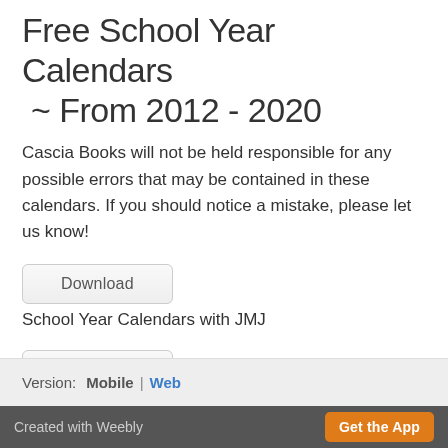Free School Year Calendars ~ From 2012 - 2020
Cascia Books will not be held responsible for any possible errors that may be contained in these calendars. If you should notice a mistake, please let us know!
[Figure (other): Download button (rounded rectangle with grey gradient)]
School Year Calendars with JMJ
[Figure (other): Download button (rounded rectangle with grey gradient)]
School Year Calendars without JMJ
Version:  Mobile | Web
Created with Weebly   Get the App